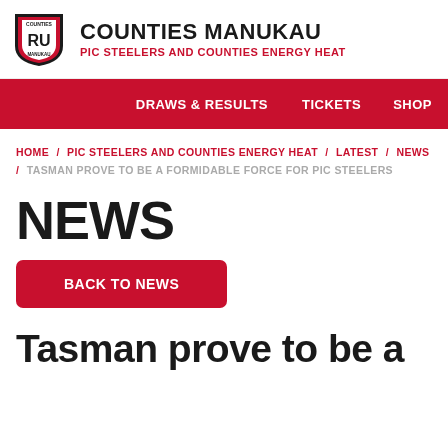[Figure (logo): Counties Manukau Rugby Union shield logo]
COUNTIES MANUKAU
PIC STEELERS AND COUNTIES ENERGY HEAT
DRAWS & RESULTS   TICKETS   SHOP
HOME / PIC STEELERS AND COUNTIES ENERGY HEAT / LATEST / NEWS / TASMAN PROVE TO BE A FORMIDABLE FORCE FOR PIC STEELERS
NEWS
BACK TO NEWS
Tasman prove to be a